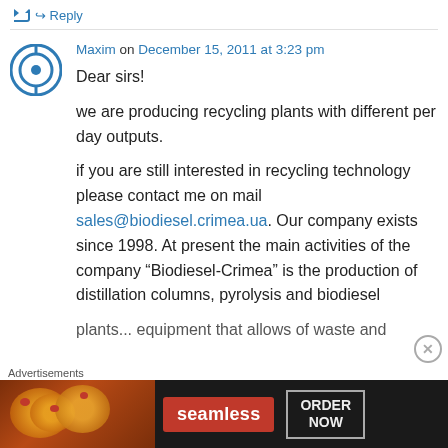↪ Reply
Maxim on December 15, 2011 at 3:23 pm
Dear sirs!

we are producing recycling plants with different per day outputs.

if you are still interested in recycling technology please contact me on mail sales@biodiesel.crimea.ua. Our company exists since 1998. At present the main activities of the company "Biodiesel-Crimea" is the production of distillation columns, pyrolysis and biodiesel plants... equipment that allows of waste and
Advertisements
[Figure (screenshot): Seamless food ordering advertisement banner with pizza image, seamless logo in red, and ORDER NOW button in a dark background]